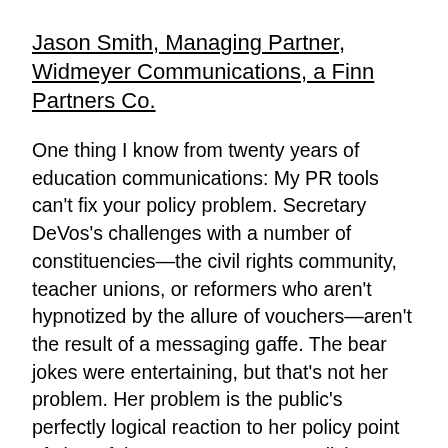Jason Smith, Managing Partner, Widmeyer Communications, a Finn Partners Co.
One thing I know from twenty years of education communications: My PR tools can't fix your policy problem. Secretary DeVos's challenges with a number of constituencies—the civil rights community, teacher unions, or reformers who aren't hypnotized by the allure of vouchers—aren't the result of a messaging gaffe. The bear jokes were entertaining, but that's not her problem. Her problem is the public's perfectly logical reaction to her policy point of view. If the secretary wants to elicit more positive responses from the public that pays attention to schools, she will need to revisit her policy platform: a full-throated endorsement of the